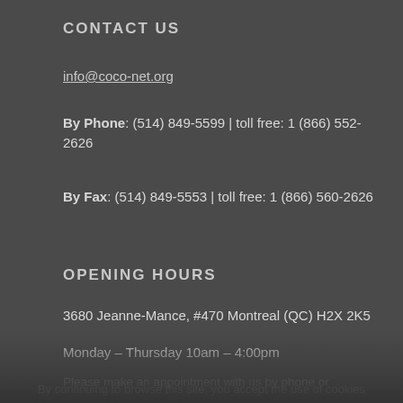CONTACT US
info@coco-net.org
By Phone: (514) 849-5599 | toll free: 1 (866) 552-2626
By Fax: (514) 849-5553 | toll free: 1 (866) 560-2626
OPENING HOURS
3680 Jeanne-Mance, #470 Montreal (QC) H2X 2K5
Monday – Thursday 10am – 4:00pm
Please make an appointment with us by phone or email as we are able to receive groups of cookies
By continuing to browse this site, you accept the use of cookies